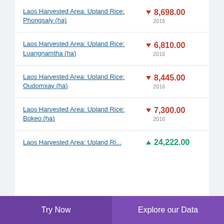Laos Harvested Area: Upland Rice: Phongsaly (ha)
Laos Harvested Area: Upland Rice: Luangnamtha (ha)
Laos Harvested Area: Upland Rice: Oudomxay (ha)
Laos Harvested Area: Upland Rice: Bokeo (ha)
Laos Harvested Area: Upland Rice:
Try Now | Explore our Data